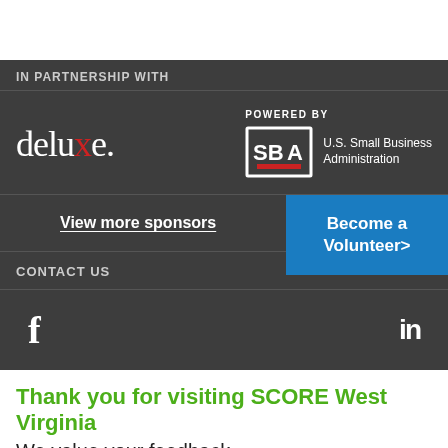IN PARTNERSHIP WITH
[Figure (logo): Deluxe logo in white with red 'x', and SBA (U.S. Small Business Administration) logo with 'POWERED BY' text above]
View more sponsors
Become a Volunteer>
CONTACT US
[Figure (logo): Facebook 'f' icon and LinkedIn 'in' icon]
Thank you for visiting SCORE West Virginia
We value your feedback